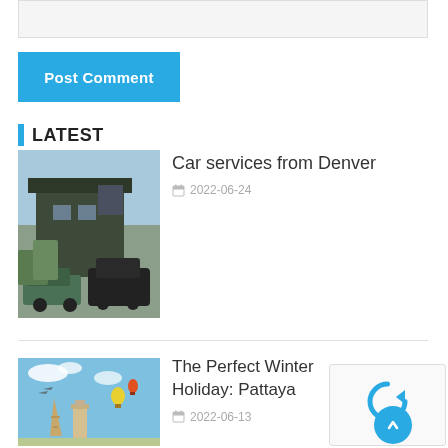[Figure (screenshot): Top portion of a text input/comment box, light gray background]
[Figure (screenshot): Blue 'Post Comment' button]
LATEST
[Figure (photo): Photo of a dark barn building with vehicles parked outside]
Car services from Denver
2022-06-24
[Figure (photo): Travel-themed image with Eiffel Tower, Big Ben, airplane silhouettes against blue sky]
The Perfect Winter Holiday: Pattaya
2022-06-13